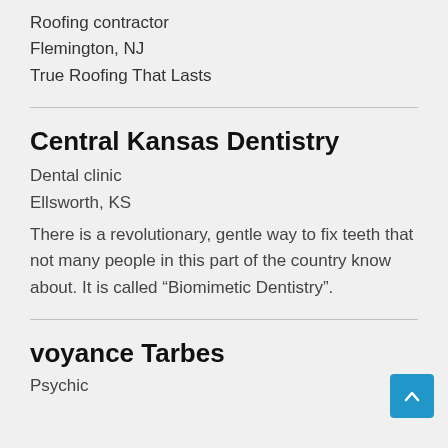Roofing contractor
Flemington, NJ
True Roofing That Lasts
Central Kansas Dentistry
Dental clinic
Ellsworth, KS
There is a revolutionary, gentle way to fix teeth that not many people in this part of the country know about. It is called “Biomimetic Dentistry”.
voyance Tarbes
Psychic